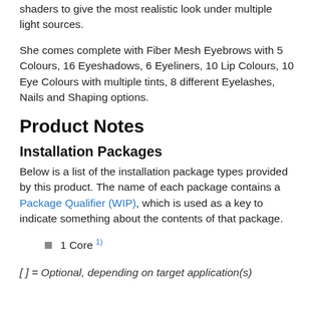shaders to give the most realistic look under multiple light sources.
She comes complete with Fiber Mesh Eyebrows with 5 Colours, 16 Eyeshadows, 6 Eyeliners, 10 Lip Colours, 10 Eye Colours with multiple tints, 8 different Eyelashes, Nails and Shaping options.
Product Notes
Installation Packages
Below is a list of the installation package types provided by this product. The name of each package contains a Package Qualifier (WIP), which is used as a key to indicate something about the contents of that package.
1 Core 1)
[ ] = Optional, depending on target application(s)